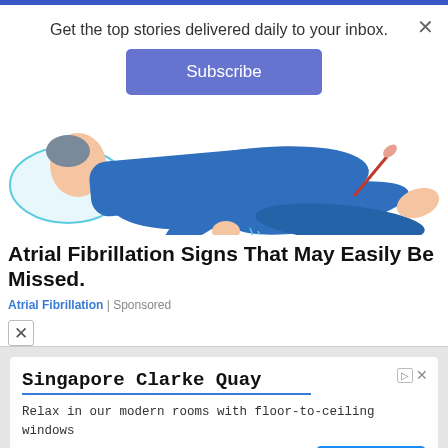Get the top stories delivered daily to your inbox.
Subscribe
[Figure (illustration): Illustration of a person lying down in blue clothing being administered an acupuncture or medical needle treatment on their leg, with pillow visible, on a white background.]
Atrial Fibrillation Signs That May Easily Be Missed.
Atrial Fibrillation | Sponsored
Singapore Clarke Quay
Relax in our modern rooms with floor-to-ceiling windows
Holiday Inn Express
Open